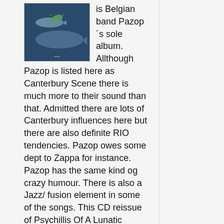[Figure (illustration): Album cover art showing birds and fish on a blue background]
is Belgian band Pazop´s sole album. Allthough Pazop is listed here as Canterbury Scene there is much more to their sound than that. Admitted there are lots of Canterbury influences here but there are also definite RIO tendencies. Pazop owes some dept to Zappa for instance. Pazop has the same kind og crazy humour. There is also a Jazz/ fusion element in some of the songs. This CD reissue of Psychillis Of A Lunatic Genius contains the tracks from the original LP and some songs recorded for their second album which was never released. There is not that much difference in sound or style so this album seems like it´s meant to be this way.
The music is very intriguing and at times mildy complex. In addition to drums, bass and keyboards there are lots of flute and especially violin on Psychillis of a